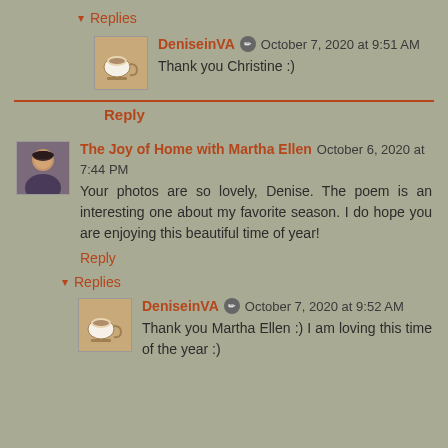▾ Replies
DeniseinVA ✏ October 7, 2020 at 9:51 AM
Thank you Christine :)
Reply
The Joy of Home with Martha Ellen October 6, 2020 at 7:44 PM
Your photos are so lovely, Denise. The poem is an interesting one about my favorite season. I do hope you are enjoying this beautiful time of year!
Reply
▾ Replies
DeniseinVA ✏ October 7, 2020 at 9:52 AM
Thank you Martha Ellen :) I am loving this time of the year :)